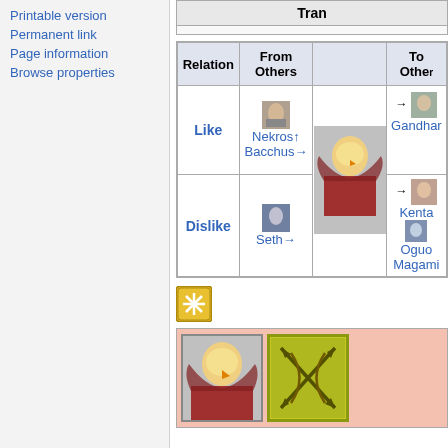Printable version
Permanent link
Page information
Browse properties
| Relation | From Others |  | To Others |
| --- | --- | --- | --- |
| Like | Nekros↑ Bacchus→ |  | → Gandhar... |
| Dislike | Seth→ |  | → Kenta
Oguo... Magami... |
[Figure (illustration): Star/asterisk icon in gold square]
[Figure (illustration): Character portrait tile and skill icon tile on pink background]